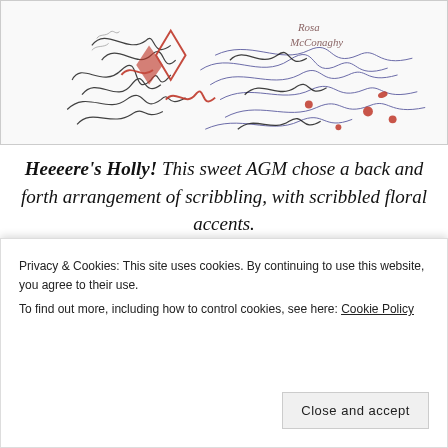[Figure (illustration): Abstract scribble artwork with back and forth lines in black, red, and blue/purple colors. Artist signature 'Rosa McConaghy' visible in upper right area. Appears to be a pen/ink drawing with floral scribble accents.]
Heeeere's Holly! This sweet AGM chose a back and forth arrangement of scribbling, with scribbled floral accents.
[Figure (illustration): Partial view of another artwork at the bottom of the page, cropped. Shows a figure in red/pink tones.]
Privacy & Cookies: This site uses cookies. By continuing to use this website, you agree to their use.
To find out more, including how to control cookies, see here: Cookie Policy